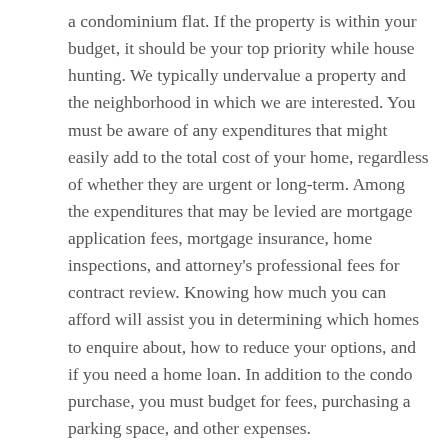a condominium flat. If the property is within your budget, it should be your top priority while house hunting. We typically undervalue a property and the neighborhood in which we are interested. You must be aware of any expenditures that might easily add to the total cost of your home, regardless of whether they are urgent or long-term. Among the expenditures that may be levied are mortgage application fees, mortgage insurance, home inspections, and attorney's professional fees for contract review. Knowing how much you can afford will assist you in determining which homes to enquire about, how to reduce your options, and if you need a home loan. In addition to the condo purchase, you must budget for fees, purchasing a parking space, and other expenses.
However, the difficult task of property investment intimidates millennials. They assume they have not yet saved enough money. Fortunately, the Philippines' high-rise